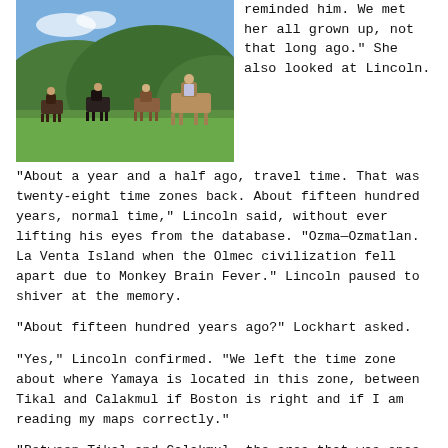[Figure (photo): People riding horses on a green grassy field with green hills in the background]
reminded him. We met her all grown up, not that long ago."  She also looked at Lincoln.
"About a year and a half ago, travel time.  That was twenty-eight time zones back.  About fifteen hundred years, normal time," Lincoln said, without ever lifting his eyes from the database.  "Ozma—Ozmatlan.  La Venta Island when the Olmec civilization fell apart due to Monkey Brain Fever." Lincoln paused to shiver at the memory.
"About fifteen hundred years ago?" Lockhart asked.
"Yes," Lincoln confirmed.  "We left the time zone about where Yamaya is located in this zone, between Tikal and Calakmul if Boston is right and if I am reading my maps correctly."
"Between Tikal and Calakmul, the area that was once part of the